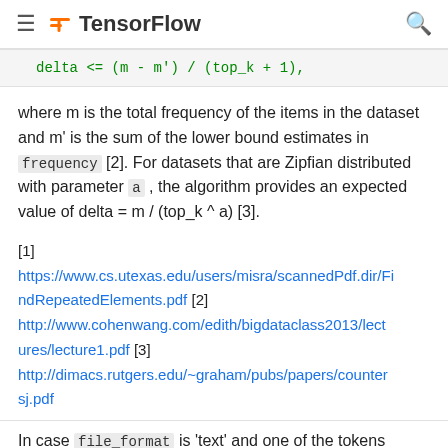TensorFlow
delta <= (m - m') / (top_k + 1),
where m is the total frequency of the items in the dataset and m' is the sum of the lower bound estimates in frequency [2]. For datasets that are Zipfian distributed with parameter a , the algorithm provides an expected value of delta = m / (top_k ^ a) [3].
[1] https://www.cs.utexas.edu/users/misra/scannedPdf.dir/FindRepeatedElements.pdf [2] http://www.cohenwang.com/edith/bigdataclass2013/lectures/lecture1.pdf [3] http://dimacs.rutgers.edu/~graham/pubs/papers/countersj.pdf
In case file_format is 'text' and one of the tokens